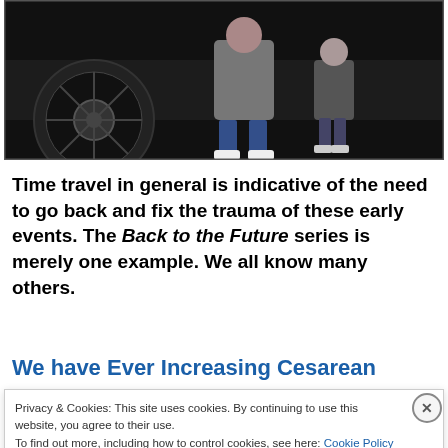[Figure (photo): A dark photo showing a car wheel/tire on the left and a person in jeans and sneakers sitting or leaning, with another figure visible in the background. Appears to be a still from the Back to the Future film.]
Time travel in general is indicative of the need to go back and fix the trauma of these early events. The Back to the Future series is merely one example. We all know many others.
We have Ever Increasing Cesarean
Privacy & Cookies: This site uses cookies. By continuing to use this website, you agree to their use.
To find out more, including how to control cookies, see here: Cookie Policy
Close and accept